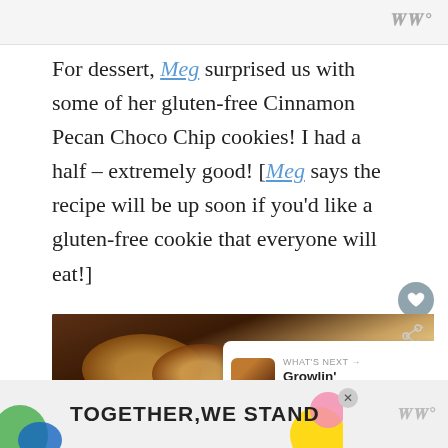WW°
For dessert, Meg surprised us with some of her gluten-free Cinnamon Pecan Choco Chip cookies! I had a half – extremely good! [Meg says the recipe will be up soon if you'd like a gluten-free cookie that everyone will eat!]
[Figure (photo): Close-up photo of gluten-free Cinnamon Pecan Choco Chip cookies in a dark baking tray with a 'What's Next' overlay showing Growlin' Ghrelin]
TOGETHER WE STAND — advertisement banner with WW° logo